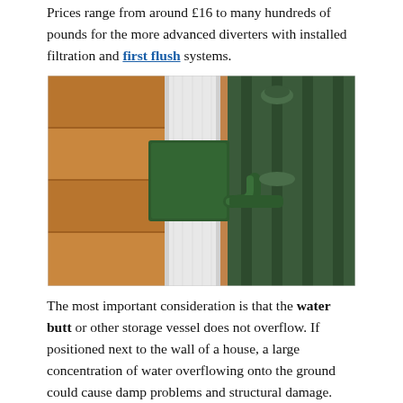Prices range from around £16 to many hundreds of pounds for the more advanced diverters with installed filtration and first flush systems.
[Figure (photo): A green rainwater diverter attached to a white downpipe, directing water into a dark green ribbed water butt/storage barrel. Wooden cladding visible in the background.]
The most important consideration is that the water butt or other storage vessel does not overflow. If positioned next to the wall of a house, a large concentration of water overflowing onto the ground could cause damp problems and structural damage. Therefore the rainwater diverter must automatically direct rainwater down the drain when the water butt is full. Alternatively an overflow pipe can be added at the top